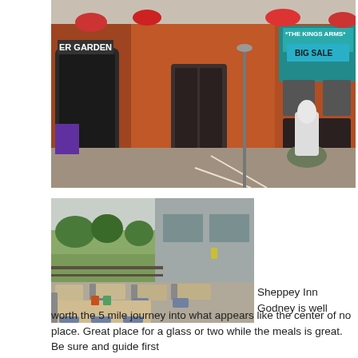[Figure (photo): Exterior of The Kings Arms pub, a red brick building with sign reading 'THE KINGS ARMS' and 'BIG SALE' banner, with a statue in the foreground and flower baskets above]
[Figure (photo): Outdoor seating area of Sheppey Inn Godney, showing wooden tables and chairs on a patio with green fields in the background and a modern building structure]
Sheppey Inn Godney is well worth the 5 mile journey into what appears like the center of no place. Great place for a glass or two while the meals is great. Be sure and guide first